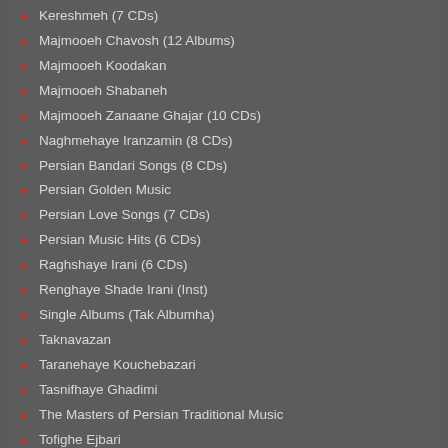Kereshmeh (7 CDs)
Majmooeh Chavosh (12 Albums)
Majmooeh Koodakan
Majmooeh Shabaneh
Majmooeh Zanaane Ghajar (10 CDs)
Naghmehaye Iranzamin (8 CDs)
Persian Bandari Songs (8 CDs)
Persian Golden Music
Persian Love Songs (7 CDs)
Persian Music Hits (6 CDs)
Raghshaye Irani (6 CDs)
Renghaye Shade Irani (Inst)
Single Albums (Tak Albumha)
Taknavazan
Taranehaye Kouchebazari
Tasnifhaye Ghadimi
The Masters of Persian Traditional Music
Tofighe Ejbari
Various Artists - Honarmandane Mokhtalef (New)
Various Artists - Honarmandane Mokhtalef (Old)
➡ Persian Artists (N-Z)
N